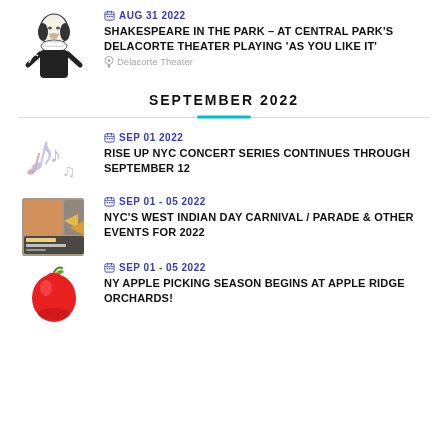[Figure (illustration): Shakespeare portrait illustration in black and white]
AUG 31 2022
SHAKESPEARE IN THE PARK – AT CENTRAL PARK'S DELACORTE THEATER PLAYING 'AS YOU LIKE IT'
Delacorte Theater
SEPTEMBER 2022
[Figure (illustration): Music notes illustration in light purple/grey]
SEP 01 2022
RISE UP NYC CONCERT SERIES CONTINUES THROUGH SEPTEMBER 12
[Figure (illustration): Labor Day Carnival poster image]
SEP 01 - 05 2022
NYC'S WEST INDIAN DAY CARNIVAL / PARADE & OTHER EVENTS FOR 2022
[Figure (illustration): Red apple illustration]
SEP 01 - 05 2022
NY APPLE PICKING SEASON BEGINS AT APPLE RIDGE ORCHARDS!